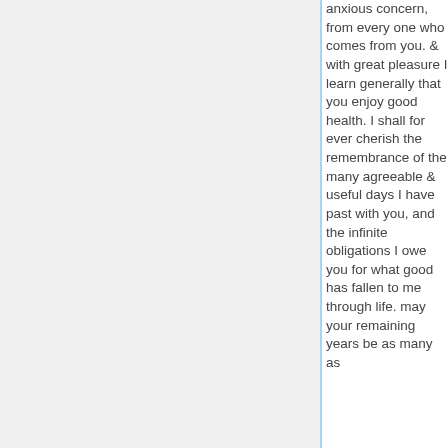anxious concern, from every one who comes from you. & with great pleasure I learn generally that you enjoy good health. I shall for ever cherish the remembrance of the many agreeable & useful days I have past with you, and the infinite obligations I owe you for what good has fallen to me through life. may your remaining years be as many as